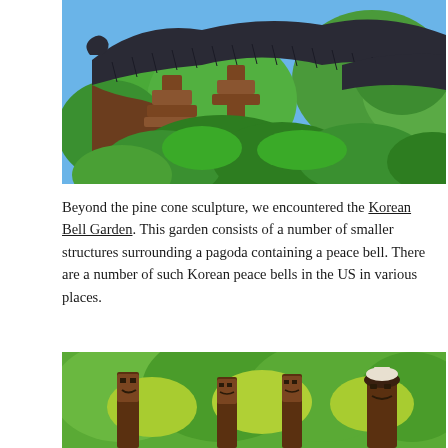[Figure (photo): Close-up of a traditional Korean wooden pavilion roof with dark curved tiles, ornate wooden brackets, surrounded by lush green trees under a blue sky.]
Beyond the pine cone sculpture, we encountered the Korean Bell Garden. This garden consists of a number of smaller structures surrounding a pagoda containing a peace bell. There are a number of such Korean peace bells in the US in various places.
[Figure (photo): Outdoor scene showing traditional Korean totem pole-style wooden sculptures (jangseung) among green and yellow foliage.]